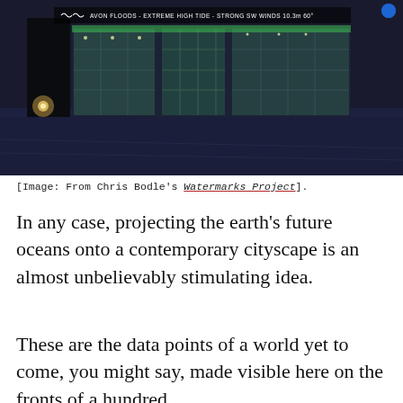[Figure (photo): Nighttime photograph of a modern building with illuminated green-tinted glass facades and a wide paved plaza in the foreground. A text overlay reads: AVON FLOODS - EXTREME HIGH TIDE - STRONG SW WINDS 10.3m 60°]
[Image: From Chris Bodle's Watermarks Project].
In any case, projecting the earth's future oceans onto a contemporary cityscape is an almost unbelievably stimulating idea.
These are the data points of a world yet to come, you might say, made visible here on the fronts of a hundred